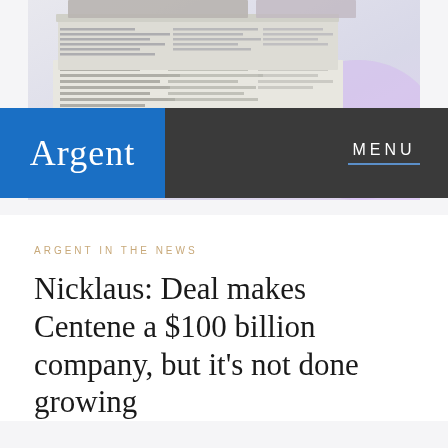[Figure (photo): Stack of newspapers photographed from above and side, with text visible on pages, light purple/pink glow in background]
Argent   MENU
ARGENT IN THE NEWS
Nicklaus: Deal makes Centene a $100 billion company, but it’s not done growing